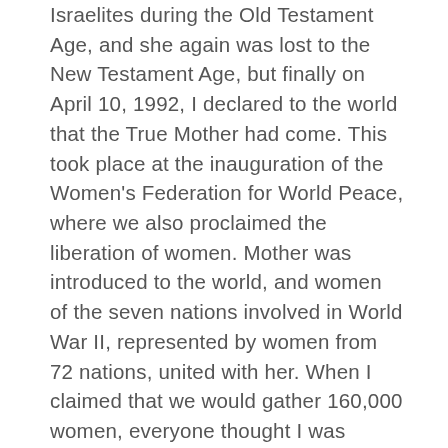Israelites during the Old Testament Age, and she again was lost to the New Testament Age, but finally on April 10, 1992, I declared to the world that the True Mother had come. This took place at the inauguration of the Women's Federation for World Peace, where we also proclaimed the liberation of women. Mother was introduced to the world, and women of the seven nations involved in World War II, represented by women from 72 nations, united with her. When I claimed that we would gather 160,000 women, everyone thought I was dreaming. Yet we made strong winds blow, and women from all backgrounds came. People came to these events without realizing why they were there. The night before the event they could not sleep. In this way we reached that numerical goal. That is how the Women's